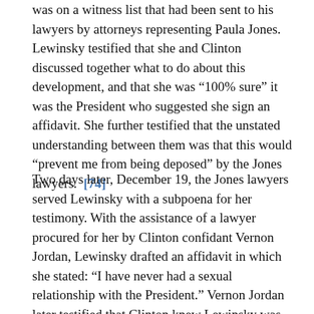was on a witness list that had been sent to his lawyers by attorneys representing Paula Jones. Lewinsky testified that she and Clinton discussed together what to do about this development, and that she was “100% sure” it was the President who suggested she sign an affidavit. She further testified that the unstated understanding between them was that this would “prevent me from being deposed” by the Jones lawyers. [74]
Two days later, December 19, the Jones lawyers served Lewinsky with a subpoena for her testimony. With the assistance of a lawyer procured for her by Clinton confidant Vernon Jordan, Lewinsky drafted an affidavit in which she stated: “I have never had a sexual relationship with the President.” Vernon Jordan later testified that Clinton knew Lewinsky was planning to submit an affidavit to the Jones attorneys denying a sexual relationship existed. Lewinsky testified that she asked Clinton if he wished to look at her affidavit and was told by the President that he didn’t need to